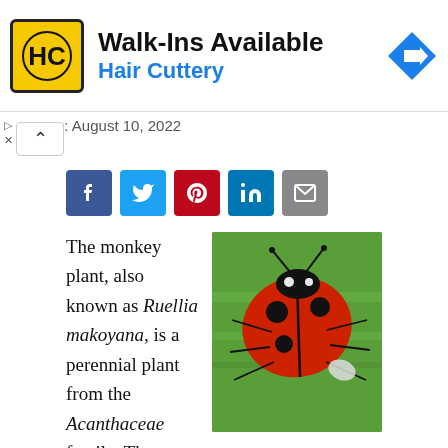[Figure (logo): Hair Cuttery advertisement banner with HC logo in yellow square, 'Walk-Ins Available' heading, 'Hair Cuttery' subtitle in blue, and blue diamond navigation arrow on right]
e: August 10, 2022
[Figure (other): Social share buttons: Facebook (blue), Twitter (blue), Pinterest (red), LinkedIn (blue), Email (grey)]
The monkey plant, also known as Ruellia makoyana, is a perennial plant from the Acanthaceae family. The plant's botanical name Ruellia is in honor of the French herbalist Jean de la Ruelle. It is commonly called the monkey plant as its
[Figure (photo): Close-up photo of a red ladybug with black spots sitting on a green leaf]